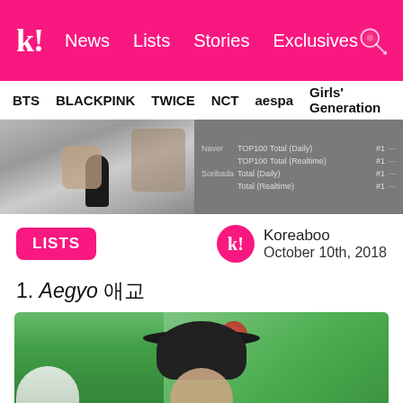k! News Lists Stories Exclusives
BTS BLACKPINK TWICE NCT aespa Girls' Generation
[Figure (screenshot): Partial image on left showing person holding microphone, and chart data on right showing Naver and Soribada chart rankings with #1 positions]
LISTS
Koreaboo
October 10th, 2018
1. Aegyo 애교
[Figure (photo): Photo of a person wearing a black wide-brim hat, with white-haired person partially visible on left, green foliage in background]